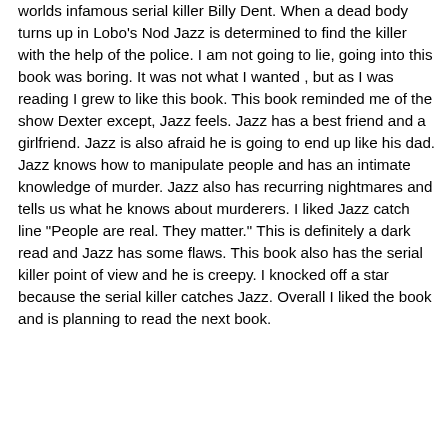worlds infamous serial killer Billy Dent. When a dead body turns up in Lobo's Nod Jazz is determined to find the killer with the help of the police. I am not going to lie, going into this book was boring. It was not what I wanted , but as I was reading I grew to like this book. This book reminded me of the show Dexter except, Jazz feels. Jazz has a best friend and a girlfriend. Jazz is also afraid he is going to end up like his dad. Jazz knows how to manipulate people and has an intimate knowledge of murder. Jazz also has recurring nightmares and tells us what he knows about murderers. I liked Jazz catch line "People are real. They matter." This is definitely a dark read and Jazz has some flaws. This book also has the serial killer point of view and he is creepy. I knocked off a star because the serial killer catches Jazz. Overall I liked the book and is planning to read the next book.